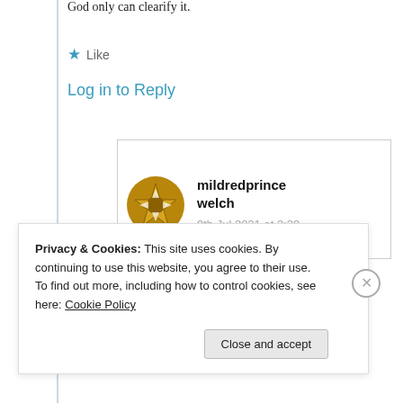God only can clearify it.
★ Like
Log in to Reply
mildredprince welch
9th Jul 2021 at 3:28 am
Privacy & Cookies: This site uses cookies. By continuing to use this website, you agree to their use. To find out more, including how to control cookies, see here: Cookie Policy
Close and accept